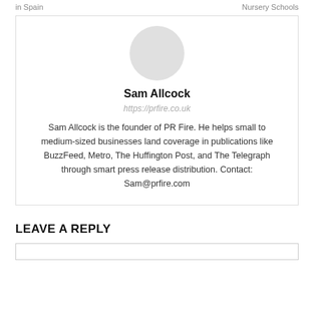in Spain    Nursery Schools
[Figure (photo): Circular avatar placeholder for Sam Allcock]
Sam Allcock
https://prfire.co.uk
Sam Allcock is the founder of PR Fire. He helps small to medium-sized businesses land coverage in publications like BuzzFeed, Metro, The Huffington Post, and The Telegraph through smart press release distribution. Contact: Sam@prfire.com
LEAVE A REPLY